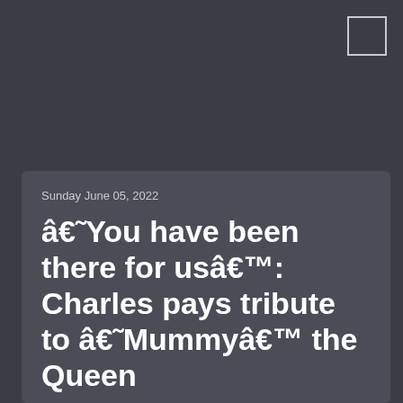Sunday June 05, 2022
â€˜You have been there for usâ€™: Charles pays tribute to â€˜Mummyâ€™ the Queen
â€˜You have been there for usâ€™: Charles pays tribute to â€˜Mummyâ€™ the Queen Queen Elizabeth II and Prince Charles.
Prince Charles has delivered a touching speech for his motherâ€™s 70 years of service to the